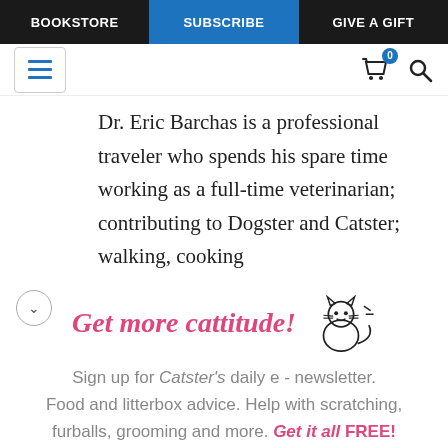BOOKSTORE | SUBSCRIBE | GIVE A GIFT
[Figure (screenshot): Navigation toolbar with hamburger menu, cart icon with badge '0', and search icon]
Dr. Eric Barchas is a professional traveler who spends his spare time working as a full-time veterinarian; contributing to Dogster and Catster; walking, cooking
[Figure (illustration): Cat illustration line drawing with whiskers and tail, beside 'Get more cattitude!' heading]
Sign up for Catster's daily e - newsletter. Food and litterbox advice. Help with scratching, furballs, grooming and more. Get it all FREE!
Enter your Email
YES! SIGN ME UP